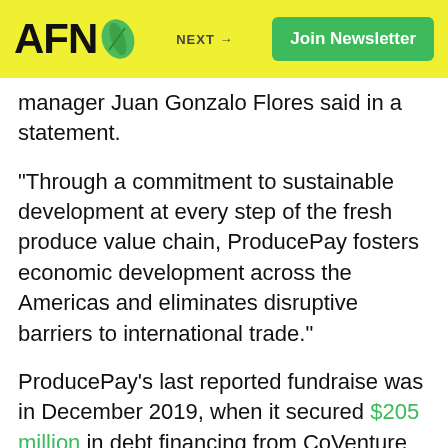AFN | NEXT → | Join Newsletter
manager Juan Gonzalo Flores said in a statement.
“Through a commitment to sustainable development at every step of the fresh produce value chain, ProducePay fosters economic development across the Americas and eliminates disruptive barriers to international trade.”
ProducePay’s last reported fundraise was in December 2019, when it secured $205 million in debt financing from CoVenture and TCM Capital. This followed a $14 million Anterra Capital-led Series B equity round in October 2018.
A number of produce supply chain technologies are